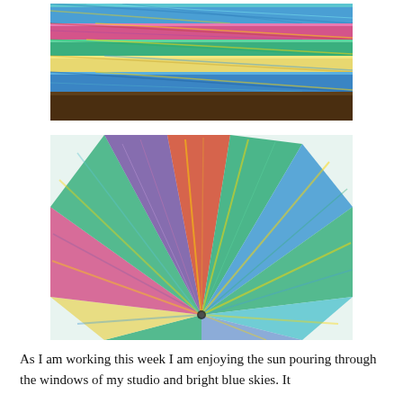[Figure (photo): Stack of colorful woven fabric pieces arranged in a pile, showing plaid/twill patterns in blue, green, yellow, pink, and multicolor on a wooden surface.]
[Figure (photo): Several colorful woven fabric pieces arranged in a fan/pinwheel pattern radiating from a center point, showing various plaid and striped textile patterns in teal, green, yellow, red, purple, and blue.]
As I am working this week I am enjoying the sun pouring through the windows of my studio and bright blue skies.  It